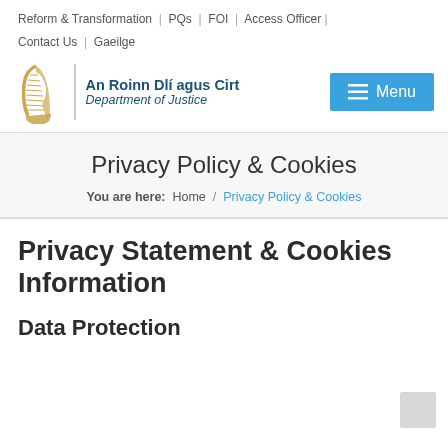Reform & Transformation | PQs | FOI | Access Officer | Contact Us | Gaeilge
[Figure (logo): Irish harp logo with vertical divider and text 'An Roinn Dlí agus Cirt / Department of Justice' and blue Menu button]
Privacy Policy & Cookies
You are here: Home / Privacy Policy & Cookies
Privacy Statement & Cookies Information
Data Protection